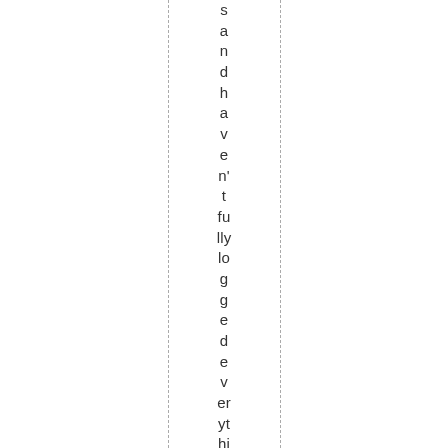sand haven't fully logged everything. I also one